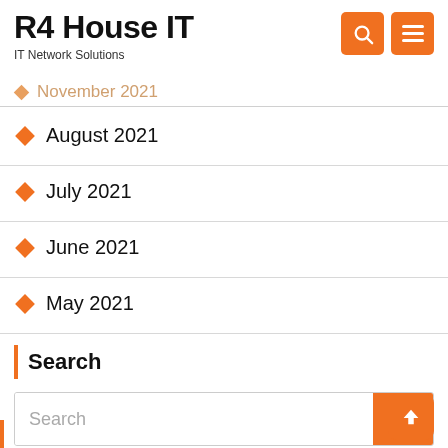R4 House IT
IT Network Solutions
November 2021
August 2021
July 2021
June 2021
May 2021
Search
Search